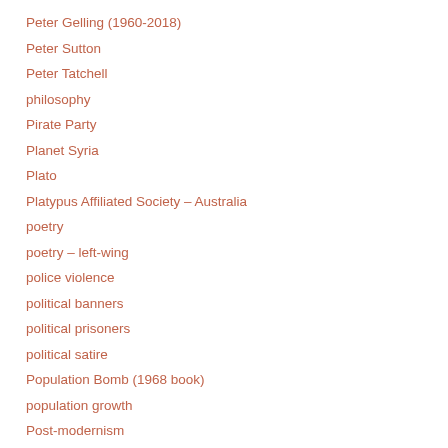Peter Gelling (1960-2018)
Peter Sutton
Peter Tatchell
philosophy
Pirate Party
Planet Syria
Plato
Platypus Affiliated Society – Australia
poetry
poetry – left-wing
police violence
political banners
political prisoners
political satire
Population Bomb (1968 book)
population growth
Post-modernism